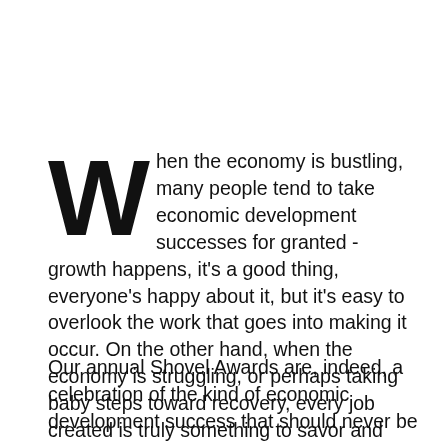When the economy is bustling, many people tend to take economic development successes for granted - growth happens, it's a good thing, everyone's happy about it, but it's easy to overlook the work that goes into making it occur. On the other hand, when the economy is struggling, or perhaps taking baby steps toward recovery, every job created is truly something to savor and celebrate.
Our annual Shovel Awards are, indeed, a celebration of the kind of economic development success that should never be